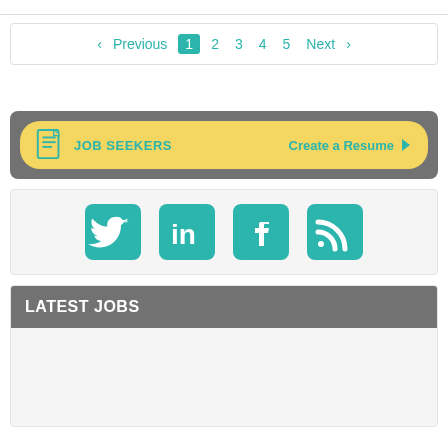< Previous 1 2 3 4 5 Next >
[Figure (infographic): Job Seekers banner with resume icon and 'Create a Resume' call to action on yellow rounded rectangle background inside a gray box]
[Figure (infographic): Social media icons: Twitter, LinkedIn, Facebook, RSS feed on light gray background]
LATEST JOBS